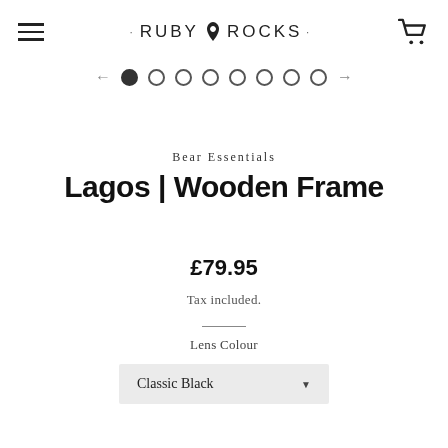RUBY ROCKS
[Figure (other): Image carousel navigation dots with left and right arrows, 8 dots, first dot filled]
Bear Essentials
Lagos | Wooden Frame
£79.95
Tax included.
Lens Colour
Classic Black